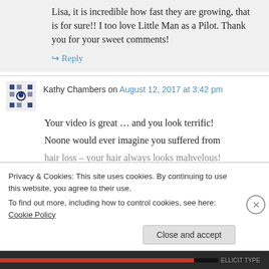Lisa, it is incredible how fast they are growing, that is for sure!! I too love Little Man as a Pilot. Thank you for your sweet comments!
↪ Reply
Kathy Chambers on August 12, 2017 at 3:42 pm
Your video is great … and you look terrific! Noone would ever imagine you suffered from hair loss – your hair always looks mahvelous!
Privacy & Cookies: This site uses cookies. By continuing to use this website, you agree to their use. To find out more, including how to control cookies, see here: Cookie Policy
Close and accept